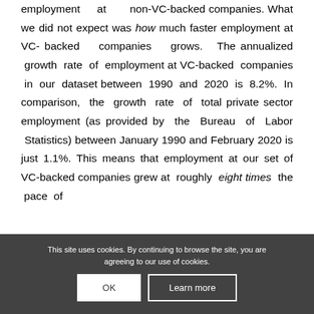employment at non-VC-backed companies. What we did not expect was how much faster employment at VC-backed companies grows. The annualized growth rate of employment at VC-backed companies in our dataset between 1990 and 2020 is 8.2%. In comparison, the growth rate of total private sector employment (as provided by the Bureau of Labor Statistics) between January 1990 and February 2020 is just 1.1%. This means that employment at our set of VC-backed companies grew at roughly eight times the pace of